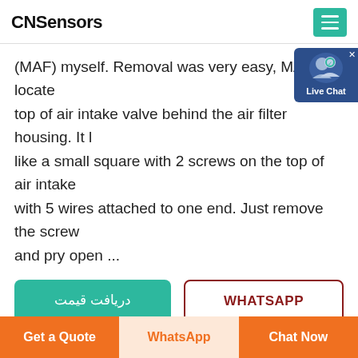CNSensors
(MAF) myself. Removal was very easy, MAF is located top of air intake valve behind the air filter housing. It like a small square with 2 screws on the top of air intake with 5 wires attached to one end. Just remove the screw and pry open ...
[Figure (screenshot): Live Chat widget with user icon and label on right side of page]
دریافت قیمت (Get Price button - teal)
WHATSAPP (button with dark red border)
[Figure (photo): Product image area showing a circular sensor component on a beige/cream background with a teal circle on the right side]
Get a Quote | WhatsApp | Chat Now